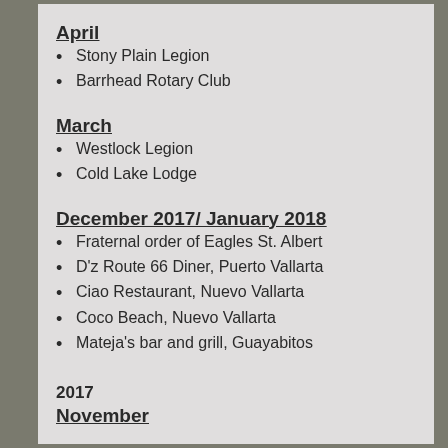April
Stony Plain Legion
Barrhead Rotary Club
March
Westlock Legion
Cold Lake Lodge
December 2017/ January 2018
Fraternal order of Eagles St. Albert
D'z Route 66 Diner, Puerto Vallarta
Ciao Restaurant, Nuevo Vallarta
Coco Beach, Nuevo Vallarta
Mateja's bar and grill, Guayabitos
2017
November